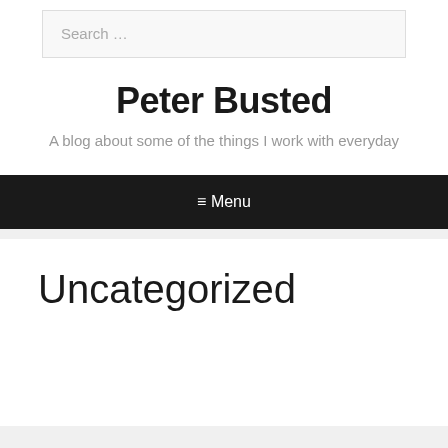Search …
Peter Busted
A blog about some of the things I work with everyday
≡ Menu
Uncategorized